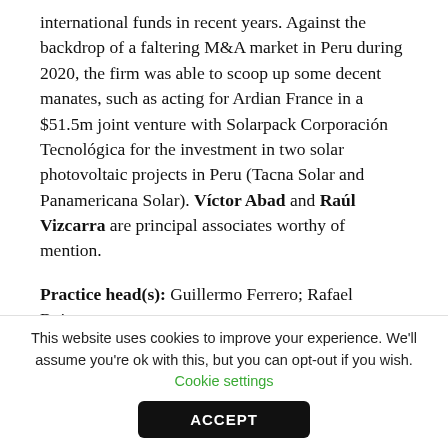international funds in recent years. Against the backdrop of a faltering M&A market in Peru during 2020, the firm was able to scoop up some decent manates, such as acting for Ardian France in a $51.5m joint venture with Solarpack Corporación Tecnológica for the investment in two solar photovoltaic projects in Peru (Tacna Solar and Panamericana Solar). Víctor Abad and Raúl Vizcarra are principal associates worthy of mention.
Practice head(s): Guillermo Ferrero; Rafael Boisset
Testimonials
This website uses cookies to improve your experience. We'll assume you're ok with this, but you can opt-out if you wish. Cookie settings